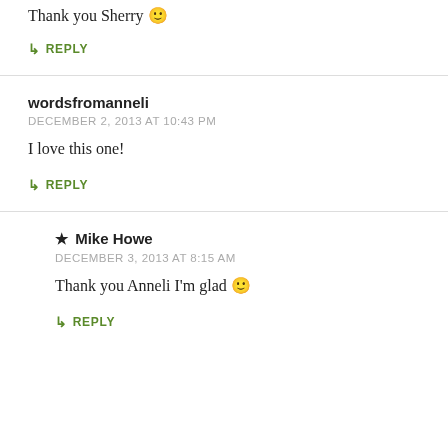Thank you Sherry 🙂
↳ REPLY
wordsfromanneli
DECEMBER 2, 2013 AT 10:43 PM
I love this one!
↳ REPLY
★ Mike Howe
DECEMBER 3, 2013 AT 8:15 AM
Thank you Anneli I'm glad 🙂
↳ REPLY